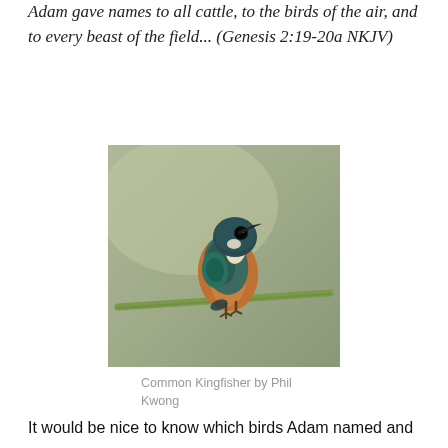Adam gave names to all cattle, to the birds of the air, and to every beast of the field... (Genesis 2:19-20a NKJV)
[Figure (photo): A Common Kingfisher bird perched on a branch against a grey-green blurred background. Photo by Phil Kwong.]
Common Kingfisher by Phil Kwong
It would be nice to know which birds Adam named and